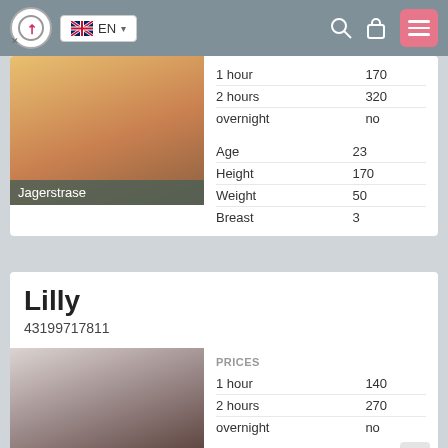EN
|  |  |
| --- | --- |
| 1 hour | 170 |
| 2 hours | 320 |
| overnight | no |
| Age | 23 |
| Height | 170 |
| Weight | 50 |
| Breast | 3 |
Jagerstrase
Lilly
43199717811
|  |  |
| --- | --- |
| PRICES |  |
| 1 hour | 140 |
| 2 hours | 270 |
| overnight | no |